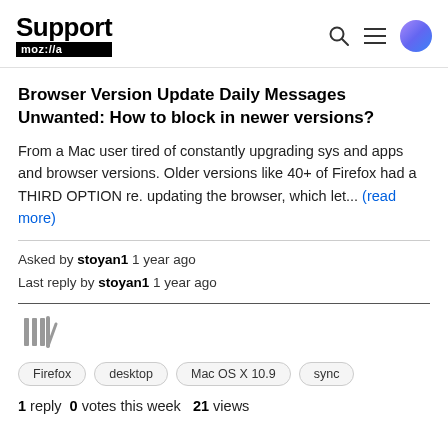Support mozilla// [search] [menu] [user icon]
Browser Version Update Daily Messages Unwanted: How to block in newer versions?
From a Mac user tired of constantly upgrading sys and apps and browser versions. Older versions like 40+ of Firefox had a THIRD OPTION re. updating the browser, which let... (read more)
Asked by stoyan1 1 year ago
Last reply by stoyan1 1 year ago
[Figure (other): Archive/library icon (vertical bars)]
Firefox  desktop  Mac OS X 10.9  sync
1 reply  0 votes this week  21 views